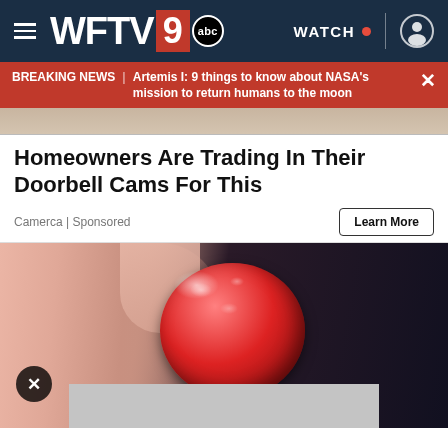WFTV 9 abc — WATCH
BREAKING NEWS | Artemis I: 9 things to know about NASA's mission to return humans to the moon
[Figure (photo): Partial image strip at top of article area showing a blurred background]
Homeowners Are Trading In Their Doorbell Cams For This
Camerca | Sponsored
Learn More
[Figure (photo): Close-up photo of fingers holding a red sugary gummy candy against a dark background, with a close button (X) in lower left and a grey ad bar at the bottom]